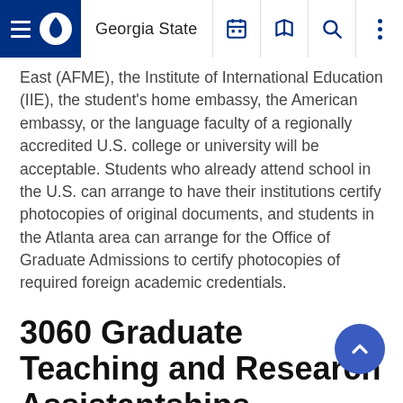Georgia State
East (AFME), the Institute of International Education (IIE), the student's home embassy, the American embassy, or the language faculty of a regionally accredited U.S. college or university will be acceptable. Students who already attend school in the U.S. can arrange to have their institutions certify photocopies of original documents, and students in the Atlanta area can arrange for the Office of Graduate Admissions to certify photocopies of required foreign academic credentials.
3060 Graduate Teaching and Research Assistantships